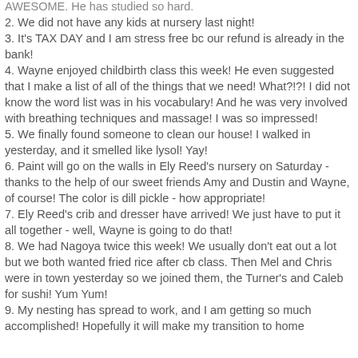AWESOME.  He has studied so hard.
2. We did not have any kids at nursery last night!
3. It's TAX DAY and I am stress free bc our refund is already in the bank!
4. Wayne enjoyed childbirth class this week!  He even suggested that I make a list of all of the things that we need!  What?!?!  I did not know the word list was in his vocabulary!  And he was very involved with breathing techniques and massage!  I was so impressed!
5. We finally found someone to clean our house!  I walked in yesterday, and it smelled like lysol! Yay!
6. Paint will go on the walls in Ely Reed's nursery on Saturday - thanks to the help of our sweet friends Amy and Dustin and Wayne, of course!  The color is dill pickle - how appropriate!
7. Ely Reed's crib and dresser have arrived!  We just have to put it all together - well, Wayne is going to do that!
8. We had Nagoya twice this week!  We usually don't eat out a lot but we both wanted fried rice after cb class.  Then Mel and Chris were in town yesterday so we joined them, the Turner's and Caleb for sushi!  Yum Yum!
9. My nesting has spread to work, and I am getting so much accomplished!  Hopefully it will make my transition to home...